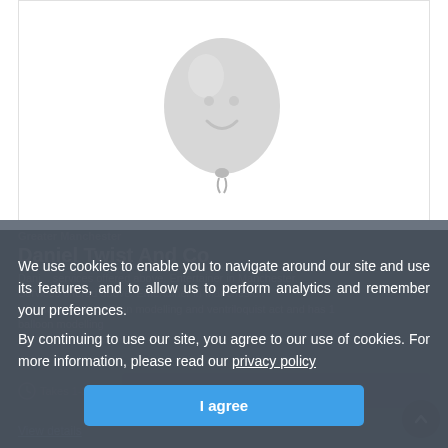[Figure (photo): Gray balloon image on white background]
Greater Manchester
Daniel Twist And Co
Daniel... (description of services, balloon modelling, kids shows, includes magic, balloon modelling and ventriloquist act and has 1 balloon Takes 1-2 mins...
We use cookies to enable you to navigate around our site and use its features, and to allow us to perform analytics and remember your preferences.

By continuing to use our site, you agree to our use of cookies. For more information, please read our privacy policy
I agree
Get quote
View details